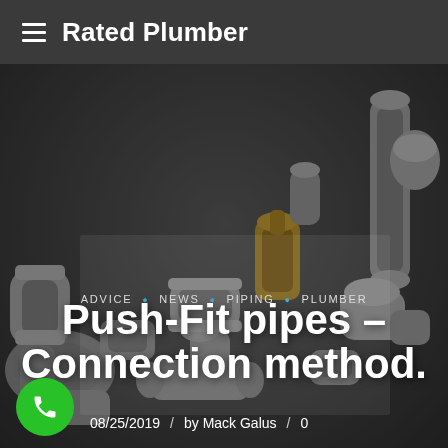Rated Plumber
[Figure (photo): Photograph of grey and brass push-fit pipe connectors/fittings arranged on a dark background]
ADVICE · NEWS · PIPING · PLUMBER
Push-Fit pipes – Connection method.
08/25/2019  /  by Mack Galus  /  0